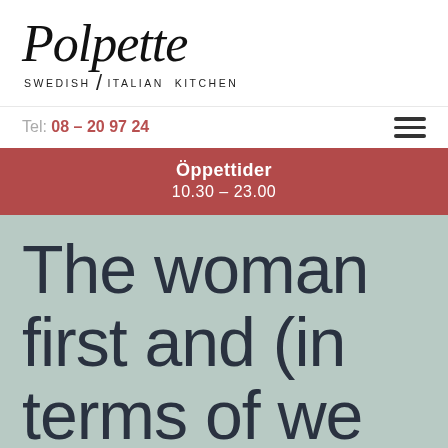[Figure (logo): Polpette Swedish Italian Kitchen logo in calligraphic italic font]
Tel: 08 – 20 97 24
Öppettider
10.30 – 23.00
The woman first and (in terms of we all